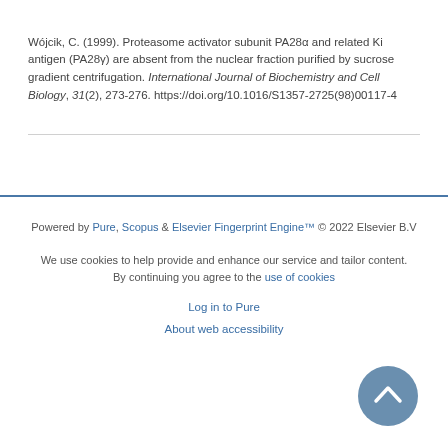Wójcik, C. (1999). Proteasome activator subunit PA28α and related Ki antigen (PA28γ) are absent from the nuclear fraction purified by sucrose gradient centrifugation. International Journal of Biochemistry and Cell Biology, 31(2), 273-276. https://doi.org/10.1016/S1357-2725(98)00117-4
Powered by Pure, Scopus & Elsevier Fingerprint Engine™ © 2022 Elsevier B.V
We use cookies to help provide and enhance our service and tailor content. By continuing you agree to the use of cookies
Log in to Pure
About web accessibility